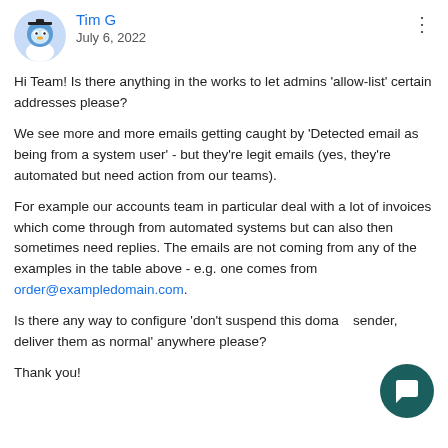Tim G
July 6, 2022
Hi Team! Is there anything in the works to let admins 'allow-list' certain addresses please?
We see more and more emails getting caught by 'Detected email as being from a system user' - but they're legit emails (yes, they're automated but need action from our teams).
For example our accounts team in particular deal with a lot of invoices which come through from automated systems but can also then sometimes need replies. The emails are not coming from any of the examples in the table above - e.g. one comes from order@exampledomain.com.
Is there any way to configure 'don't suspend this domain sender, deliver them as normal' anywhere please?
Thank you!